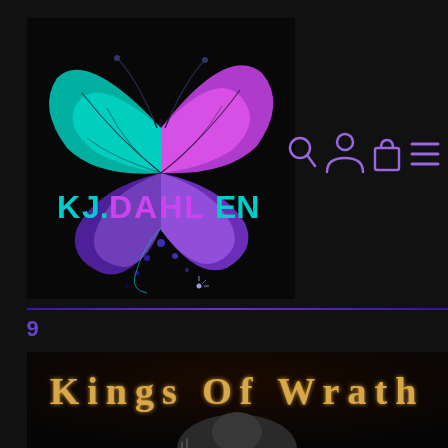[Figure (logo): KJ Dahlen author logo featuring a colorful butterfly with teal and purple/pink wings on a black background, with the text 'KJ. DAHLEN' in teal and pink letters below]
[Figure (infographic): Navigation bar icons: search (magnifying glass), account (person silhouette), cart (shopping bag), and menu (hamburger lines) in purple color]
899
[Figure (photo): Book cover for 'Kings Of Wrath' showing decorative old English blackletter title text in golden/amber color on a dark background, with a person's head visible at the bottom]